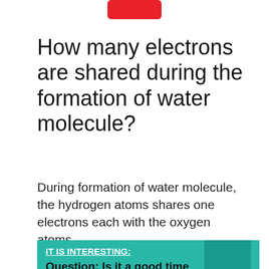[Figure (other): Red rounded rectangle button at top center]
How many electrons are shared during the formation of water molecule?
During formation of water molecule, the hydrogen atoms shares one electrons each with the oxygen atoms.
IT IS INTERESTING:
Question: Is it a good time to invest in Australian shares?